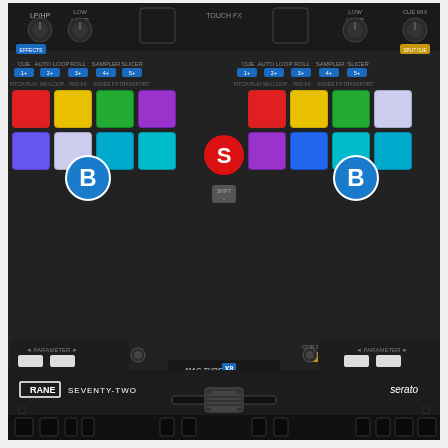[Figure (photo): Rane Seventy-Two DJ mixer with Serato branding. The device is black with colorful illuminated performance pads (red, yellow, green, purple, blue, white, cyan) arranged in two sets on the upper portion. Three labeled callout circles are visible: a blue circle with 'B' on the left pad section, a red circle with 'S' in the center, and a blue circle with 'B' on the right pad section. A blue circle with 'A' marks the crossfader/mixer section. The mixer has two upfaders (channel faders), a crossfader at the bottom center, parameter buttons, CUE DECK 1 and CUE DECK 2 buttons, and a MAG THREE XB tension-adjustable crossfader mechanism. The bottom shows 'RANE SEVENTY-TWO' branding on the left and 'serato' on the right. Cable connectors are visible at the very bottom.]